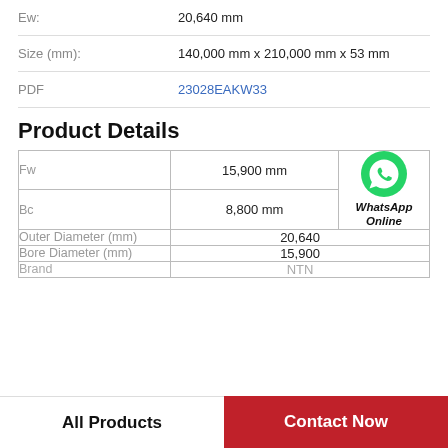| Ew: | 20,640 mm |
| Size (mm): | 140,000 mm x 210,000 mm x 53 mm |
| PDF | 23028EAKW33 |
Product Details
|  |  |  |
| --- | --- | --- |
| Fw | 15,900 mm | WhatsApp Online |
| Bc | 8,800 mm |  |
| Outer Diameter (mm) | 20,640 |  |
| Bore Diameter (mm) | 15,900 |  |
| Brand | NTN |  |
All Products   Contact Now